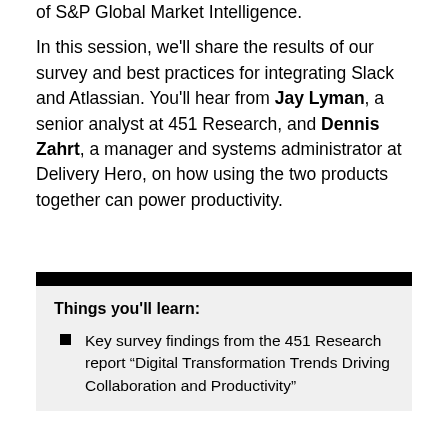of S&P Global Market Intelligence.
In this session, we'll share the results of our survey and best practices for integrating Slack and Atlassian. You'll hear from Jay Lyman, a senior analyst at 451 Research, and Dennis Zahrt, a manager and systems administrator at Delivery Hero, on how using the two products together can power productivity.
Things you'll learn:
Key survey findings from the 451 Research report “Digital Transformation Trends Driving Collaboration and Productivity”